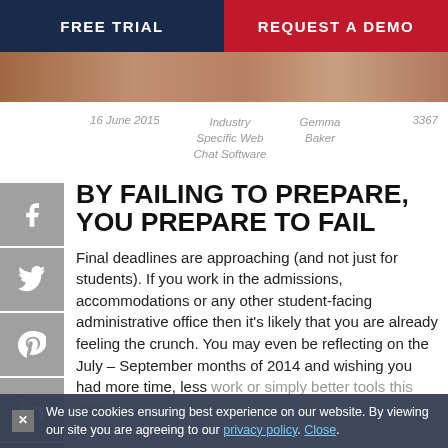FREE TRIAL | REQUEST A DEMO
[Figure (photo): Partial photo of a person, cropped header image]
16 June 2015   Industry Specific Web Chat Software   Gemma Baker   3367
BY FAILING TO PREPARE, YOU PREPARE TO FAIL
Final deadlines are approaching (and not just for students). If you work in the admissions, accommodations or any other student-facing administrative office then it's likely that you are already feeling the crunch. You may even be reflecting on the July – September months of 2014 and wishing you had more time, less work or simply better tools this year.
We use cookies ensuring best experience on our website. By viewing our site you are agreeing to our privacy policy. Close.